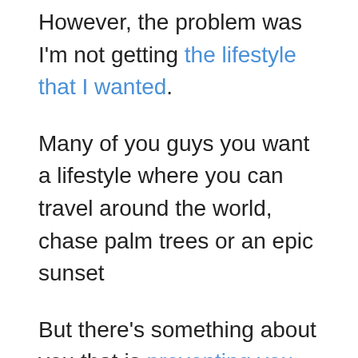However, the problem was I'm not getting the lifestyle that I wanted.
Many of you guys you want a lifestyle where you can travel around the world, chase palm trees or an epic sunset
But there's something about you that is preventing you from getting there.
And the reason why is because you're not asking yourself this one little question.
In today's video, we're gonna talk about the one question that you can start asking yourself every